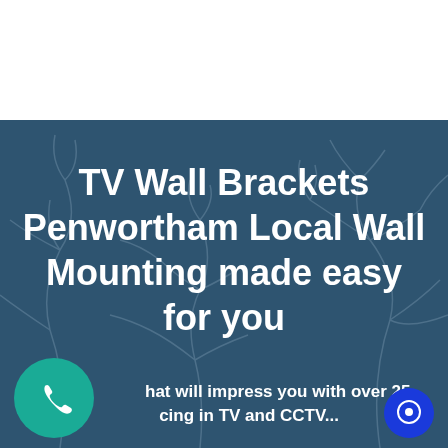[Figure (illustration): Dark blue-grey background with faint tree branch silhouettes, serving as the page hero background image]
TV Wall Brackets Penwortham Local Wall Mounting made easy for you
hat will impress you with over 25 ... cing in TV and CCTV...